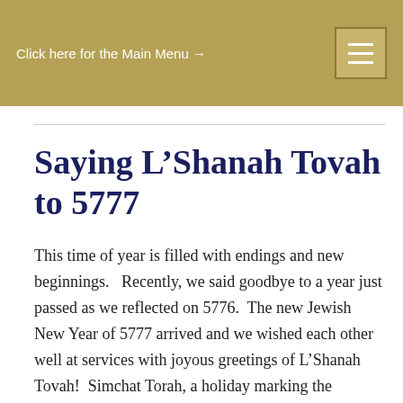Click here for the Main Menu →
Saying L’Shanah Tovah to 5777
This time of year is filled with endings and new beginnings.   Recently, we said goodbye to a year just passed as we reflected on 5776.  The new Jewish New Year of 5777 arrived and we wished each other well at services with joyous greetings of L’Shanah Tovah!  Simchat Torah, a holiday marking the completion of the annual cycle of weekly Torah readings, just took place too.  The last Torah portion is read, and then the first chapter of Genesis, reminding us that the Torah is a circle, and never ends.  It is